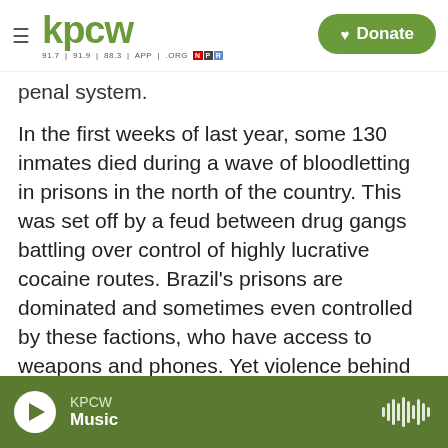KPCW — 91.7 | 91.9 | 88.3 | APP | .ORG — NPR — Donate
penal system.
In the first weeks of last year, some 130 inmates died during a wave of bloodletting in prisons in the north of the country. This was set off by a feud between drug gangs battling over control of highly lucrative cocaine routes. Brazil's prisons are dominated and sometimes even controlled by these factions, who have access to weapons and phones. Yet violence behind bars isn't only about drugs.
GEORGE DANTAS: There is a basic problem in the Brazilian prison system regarding space.
KPCW Music